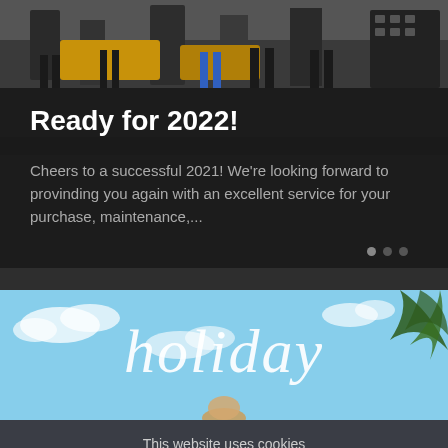[Figure (photo): Group of people standing near yellow chairs and machinery, partially cropped at top]
Ready for 2022!
Cheers to a successful 2021! We're looking forward to provinding you again with an excellent service for your purchase, maintenance,...
[Figure (photo): Holiday-themed banner image with cursive 'holiday' text over a blue sky background with palm leaves and a figure below]
This website uses cookies
Accept
Privacy Policy